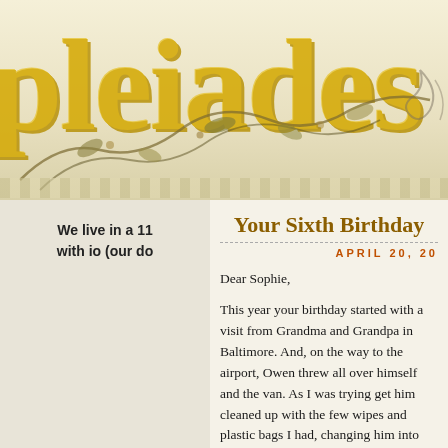pleiades
We live in a 11 with io (our do
Your Sixth Birthday
APRIL 20, 20
Dear Sophie,
This year your birthday started with a visit from Grandma and Grandpa in Baltimore. And, on the way to the airport, Owen threw all over himself and the van. As I was trying get him cleaned up with the few wipes and plastic bags I had, changing him into one of Daddy's shirts slated for Goodwill I found in the back of the van, you ever-so-helpful sai